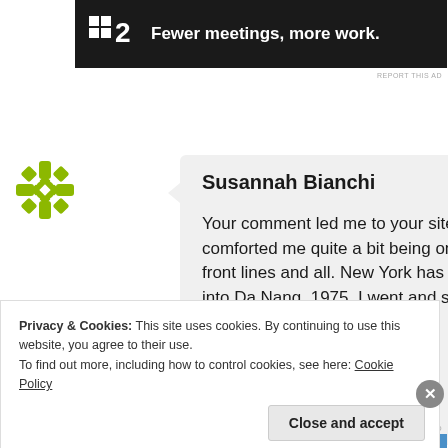[Figure (screenshot): Advertisement banner with dark background showing logo '2' with grid icon and text 'Fewer meetings, more work.']
REPORT THIS AD
[Figure (illustration): Green ornate geometric avatar icon for user Susannah Bianchi]
Susannah Bianchi
Your comment led me to your site. It's comforted me quite a bit being on the front lines and all. New York has turned into Da Nang, 1975. I went and saw
Privacy & Cookies: This site uses cookies. By continuing to use this website, you agree to their use.
To find out more, including how to control cookies, see here: Cookie Policy
Close and accept